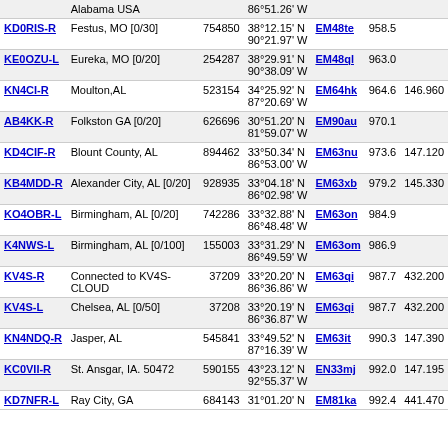| Callsign | Location | Node | Coordinates | Grid | Dist | Freq |
| --- | --- | --- | --- | --- | --- | --- |
|  | Alabama USA |  | 86°51.26' W |  |  |  |
| KD0RIS-R | Festus, MO [0/30] | 754850 | 38°12.15' N 90°21.97' W | EM48te | 958.5 |  |
| KE0OZU-L | Eureka, MO [0/20] | 254287 | 38°29.91' N 90°38.09' W | EM48ql | 963.0 |  |
| KN4CI-R | Moulton,AL | 523154 | 34°25.92' N 87°20.69' W | EM64hk | 964.6 | 146.960 |
| AB4KK-R | Folkston GA [0/20] | 626696 | 30°51.20' N 81°59.07' W | EM90au | 970.1 |  |
| KD4CIF-R | Blount County, AL | 894462 | 33°50.34' N 86°53.00' W | EM63nu | 973.6 | 147.120 |
| KB4MDD-R | Alexander City, AL [0/20] | 928935 | 33°04.18' N 86°02.98' W | EM63xb | 979.2 | 145.330 |
| KO4OBR-L | Birmingham, AL [0/20] | 742286 | 33°32.88' N 86°48.48' W | EM63on | 984.9 |  |
| K4NWS-L | Birmingham, AL [0/100] | 155003 | 33°31.29' N 86°49.59' W | EM63om | 986.9 |  |
| KV4S-R | Connected to KV4S-CLOUD | 37209 | 33°20.20' N 86°36.86' W | EM63qi | 987.7 | 432.200 |
| KV4S-L | Chelsea, AL [0/50] | 37208 | 33°20.19' N 86°36.87' W | EM63qi | 987.7 | 432.200 |
| KN4NDQ-R | Jasper, AL | 545841 | 33°49.52' N 87°16.39' W | EM63it | 990.3 | 147.390 |
| KC0VII-R | St. Ansgar, IA. 50472 | 590155 | 43°23.12' N 92°55.37' W | EN33mj | 992.0 | 147.195 |
| KD7NFR-L | Ray City, GA | 684143 | 31°01.20' N | EM81ka | 992.4 | 441.470 |